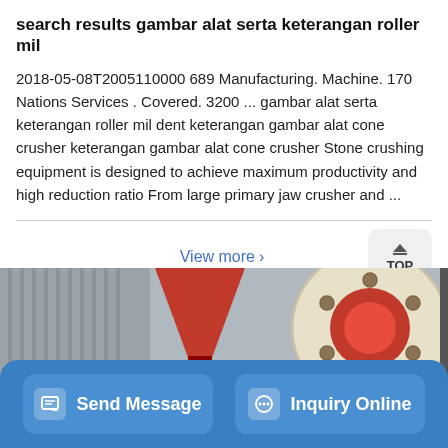search results gambar alat serta keterangan roller mil
2018-05-08T2005110000 689 Manufacturing. Machine. 170 Nations Services . Covered. 3200 ... gambar alat serta keterangan roller mil dent keterangan gambar alat cone crusher keterangan gambar alat cone crusher Stone crushing equipment is designed to achieve maximum productivity and high reduction ratio From large primary jaw crusher and ...
View more >
[Figure (photo): Photo of industrial crushing machine showing a red funnel-shaped hopper and a large circular red and cream-colored wheel/flywheel with bolt holes, inside an industrial building]
Send Message
Inquiry Online